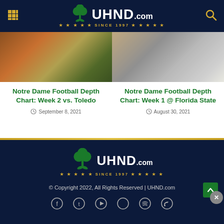UHND.com — Since 1997
[Figure (photo): Notre Dame football players on field, left card image]
Notre Dame Football Depth Chart: Week 2 vs. Toledo
September 8, 2021
[Figure (photo): Notre Dame football players on field, right card image]
Notre Dame Football Depth Chart: Week 1 @ Florida State
August 30, 2021
© Copyright 2022, All Rights Reserved | UHND.com